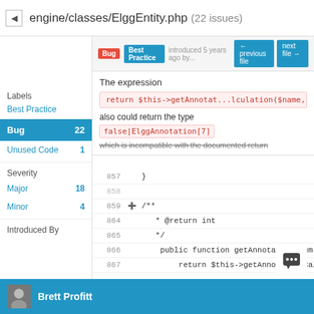engine/classes/ElggEntity.php (22 issues)
Bug | Best Practice | introduced 5 years ago by... ← previous file | next file →
The expression
return $this->getAnnotat...lculation($name, 'avg'
also could return the type false|ElggAnnotation[7]
which is incompatible with the documented return
Labels
Best Practice
Bug 22
Unused Code 1
Severity
Major 18
Minor 4
Introduced By
857    }
858
859 + /**
864    * @return int
865    */
866    public function getAnnotationsSum($name)
867    return $this->getAnnotationCalcu
Brett Profitt